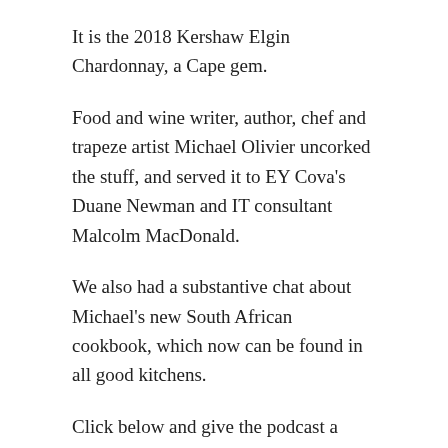It is the 2018 Kershaw Elgin Chardonnay, a Cape gem.
Food and wine writer, author, chef and trapeze artist Michael Olivier uncorked the stuff, and served it to EY Cova's Duane Newman and IT consultant Malcolm MacDonald.
We also had a substantive chat about Michael's new South African cookbook, which now can be found in all good kitchens.
Click below and give the podcast a listen:
[Figure (other): Audio player widget showing playback controls: play button, time display 0:00 / 23:08, progress bar, volume icon, and more options icon.]
NB: Michael Oliver's cookbook is unmissable and is